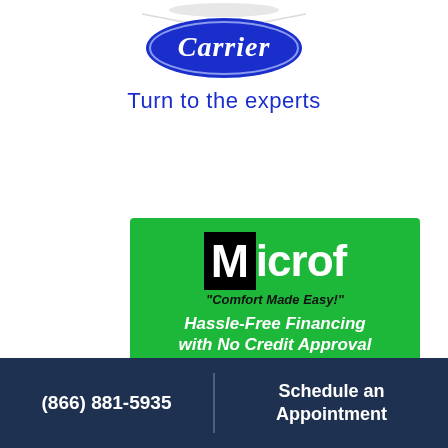[Figure (logo): Carrier brand logo — blue oval with 'Carrier' text in white italic script, with silver/white decorative wings on either side]
Turn to the experts
[Figure (logo): Microf advertisement on green background. Large black box with white 'M' followed by 'icrof' in white bold text. Tagline: "Comfort Made Easy!" in black italic. Below: 'Hassle-Free Financing with No Credit Approval or Down Payment Required' in white bold italic. Partial text at bottom: 'Click here for more details']
(866) 881-5935
Schedule an Appointment